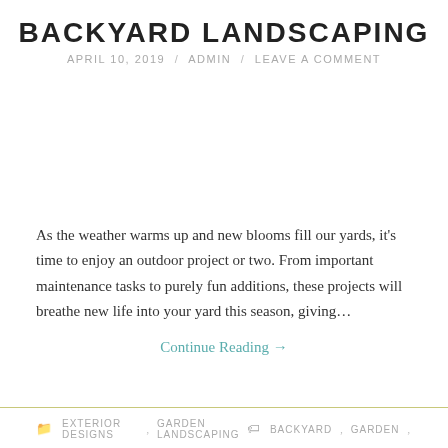BACKYARD LANDSCAPING
APRIL 10, 2019 / ADMIN / LEAVE A COMMENT
[Figure (photo): Blank image placeholder area for backyard landscaping article]
As the weather warms up and new blooms fill our yards, it's time to enjoy an outdoor project or two. From important maintenance tasks to purely fun additions, these projects will breathe new life into your yard this season, giving…
Continue Reading →
EXTERIOR DESIGNS, GARDEN LANDSCAPING   BACKYARD, GARDEN,